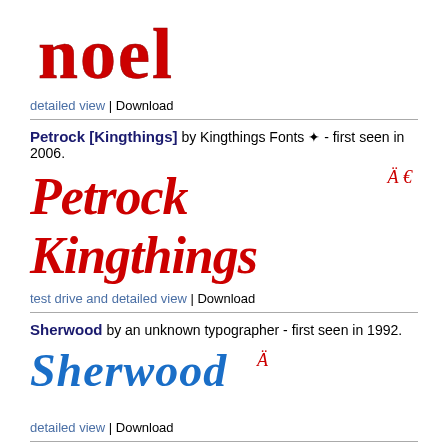[Figure (illustration): Decorative blackletter font sample showing the word 'noel' in red gothic/blackletter style]
detailed view | Download
Petrock [Kingthings] by Kingthings Fonts ✦ - first seen in 2006.
[Figure (illustration): Font preview showing 'Petrock Kingthings' in large red italic blackletter style with accent characters Ä and € in red]
test drive and detailed view | Download
Sherwood by an unknown typographer - first seen in 1992.
[Figure (illustration): Font preview showing 'Sherwood' in large blue italic script style with accent character Ä in red]
detailed view | Download